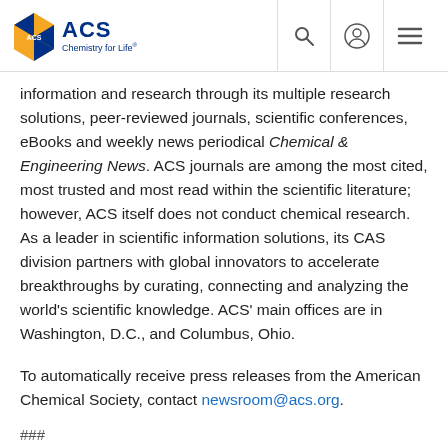ACS Chemistry for Life
information and research through its multiple research solutions, peer-reviewed journals, scientific conferences, eBooks and weekly news periodical Chemical & Engineering News. ACS journals are among the most cited, most trusted and most read within the scientific literature; however, ACS itself does not conduct chemical research. As a leader in scientific information solutions, its CAS division partners with global innovators to accelerate breakthroughs by curating, connecting and analyzing the world's scientific knowledge. ACS' main offices are in Washington, D.C., and Columbus, Ohio.
To automatically receive press releases from the American Chemical Society, contact newsroom@acs.org.
###